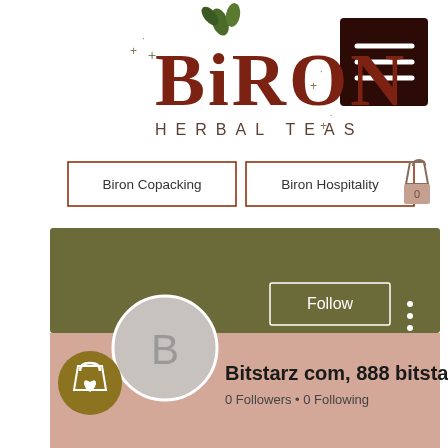[Figure (logo): Biron Herbal Teas logo with decorative botanical leaves, dark red serif lettering 'BIRON' and smaller text 'HERBAL TEAS', with a dark brown hamburger menu button on the right]
[Figure (screenshot): Navigation bar with two outlined buttons 'Biron Copacking' and 'Biron Hospitality', and a shopping bag icon with '0' badge]
[Figure (screenshot): Social media profile page with olive green banner, pink-beige lower section, circular avatar with letter B, Follow button, three-dot menu, profile name 'Bitstarz com, 888 bitstarz', follower stats '0 Followers • 0 Following', and gold shopping badge icon]